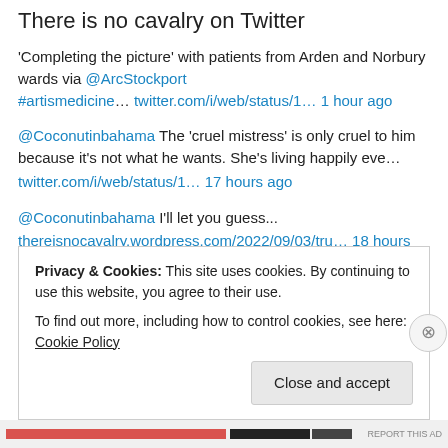There is no cavalry on Twitter
'Completing the picture' with patients from Arden and Norbury wards via @ArcStockport #artismedicine… twitter.com/i/web/status/1… 1 hour ago
@Coconutinbahama The 'cruel mistress' is only cruel to him because it's not what he wants. She's living happily eve… twitter.com/i/web/status/1… 17 hours ago
@Coconutinbahama I'll let you guess... thereisnocavalry.wordpress.com/2022/09/03/tru… 18 hours ago
@AZ_Brittney Wow! Congratulations - what an amazing achievement. Well done, you. 👏🤩❤️👍I'm sure your life is infinit… twitter.com/i/web/status/1… 18 hours ago
Privacy & Cookies: This site uses cookies. By continuing to use this website, you agree to their use. To find out more, including how to control cookies, see here: Cookie Policy